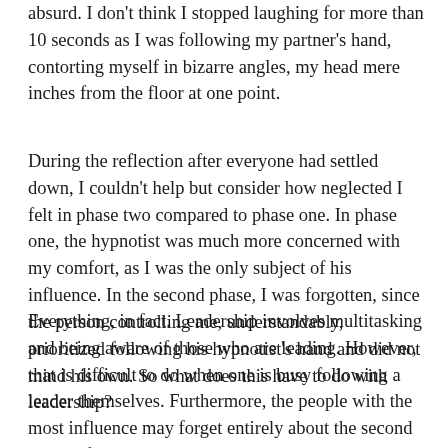absurd. I don't think I stopped laughing for more than 10 seconds as I was following my partner's hand, contorting myself in bizarre angles, my head mere inches from the floor at one point.
During the reflection after everyone had settled down, I couldn't help but consider how neglected I felt in phase two compared to phase one. In phase one, the hypnotist was much more concerned with my comfort, as I was the only subject of his influence. In the second phase, I was forgotten, since the person controlling me, understandably, prioritized following his hypnotist's hand and did not mind his own. So what does this have to do with leadership?
Everything, in fact. Leadership involves multitasking and being aware of those who are leading. However, that is difficult to do when one is busy following a leader themselves. Furthermore, the people with the most influence may forget entirely about the second group of people being controlled by those they are directly